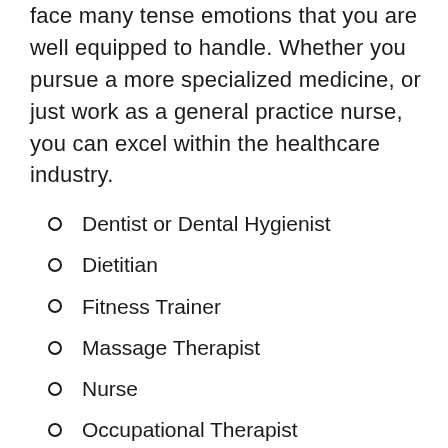face many tense emotions that you are well equipped to handle. Whether you pursue a more specialized medicine, or just work as a general practice nurse, you can excel within the healthcare industry.
Dentist or Dental Hygienist
Dietitian
Fitness Trainer
Massage Therapist
Nurse
Occupational Therapist
Paramedic